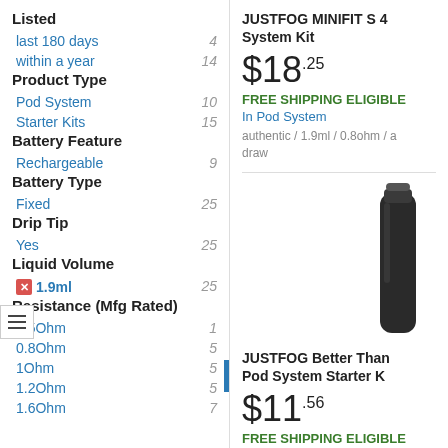Listed
last 180 days    4
within a year    14
Product Type
Pod System    10
Starter Kits    15
Battery Feature
Rechargeable    9
Battery Type
Fixed    25
Drip Tip
Yes    25
Liquid Volume
1.9ml    25
Resistance (Mfg Rated)
0.5Ohm    1
0.8Ohm    5
1Ohm    5
1.2Ohm    5
1.6Ohm    7
JUSTFOG MINIFIT S 4 System Kit
$18.25
FREE SHIPPING ELIGIBLE
In Pod System
authentic / 1.9ml / 0.8ohm / a draw
[Figure (photo): Black cylindrical vape device product photo]
JUSTFOG Better Than Pod System Starter K
$11.56
FREE SHIPPING ELIGIBLE